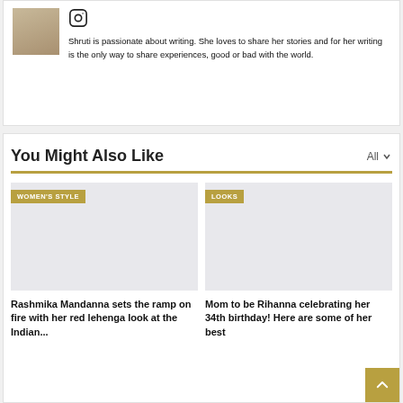[Figure (photo): Author photo thumbnail showing a person writing at a desk]
Shruti is passionate about writing. She loves to share her stories and for her writing is the only way to share experiences, good or bad with the world.
You Might Also Like
[Figure (photo): Article thumbnail for WOMEN'S STYLE category - light gray placeholder image]
Rashmika Mandanna sets the ramp on fire with her red lehenga look at the Indian...
[Figure (photo): Article thumbnail for LOOKS category - light gray placeholder image]
Mom to be Rihanna celebrating her 34th birthday! Here are some of her best